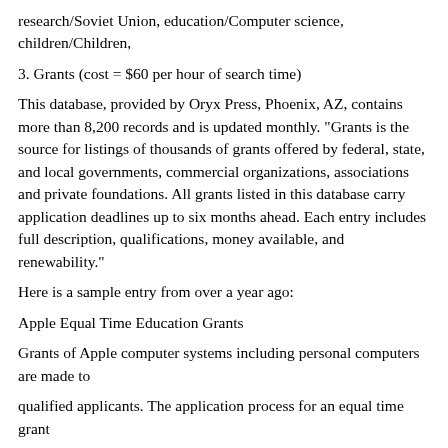research/Soviet Union, education/Computer science, children/Children,
3. Grants (cost = $60 per hour of search time)
This database, provided by Oryx Press, Phoenix, AZ, contains more than 8,200 records and is updated monthly. "Grants is the source for listings of thousands of grants offered by federal, state, and local governments, commercial organizations, associations and private foundations. All grants listed in this database carry application deadlines up to six months ahead. Each entry includes full description, qualifications, money available, and renewability."
Here is a sample entry from over a year ago:
Apple Equal Time Education Grants
Grants of Apple computer systems including personal computers are made to
qualified applicants. The application process for an equal time grant
is designed to help recipients focus their plans for integrating
computers into daily classroom subjects for their use by targeted